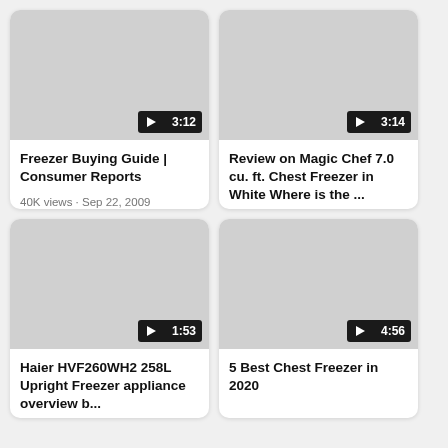[Figure (screenshot): Grid of 4 YouTube video cards with thumbnails and metadata]
Freezer Buying Guide | Consumer Reports
40K views · Sep 22, 2009
YouTube › Consumer Reports
Review on Magic Chef 7.0 cu. ft. Chest Freezer in White Where is the ...
32K views · Feb 5, 2019
YouTube › Michael Jillian
Haier HVF260WH2 258L Upright Freezer appliance overview b...
5 Best Chest Freezer in 2020